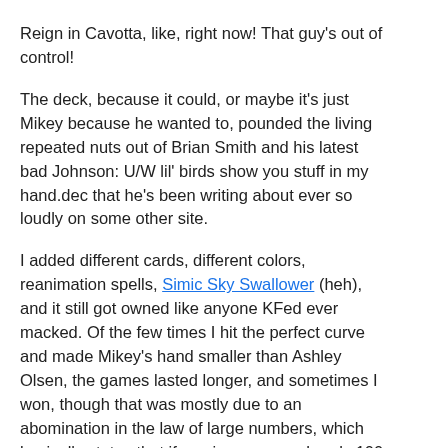Reign in Cavotta, like, right now! That guy's out of control!
The deck, because it could, or maybe it's just Mikey because he wanted to, pounded the living repeated nuts out of Brian Smith and his latest bad Johnson: U/W lil' birds show you stuff in my hand.dec that he's been writing about ever so loudly on some other site.
I added different cards, different colors, reanimation spells, Simic Sky Swallower (heh), and it still got owned like anyone KFed ever macked. Of the few times I hit the perfect curve and made Mikey's hand smaller than Ashley Olsen, the games lasted longer, and sometimes I won, though that was mostly due to an abomination in the law of large numbers, which basically states that if a coin comes up heads 100 times in a row, bet tails 'cause it's due! This theory has won many players millions of dollars at roulette wheels and craps tables around the world. Try it out the next time you're in a casino!